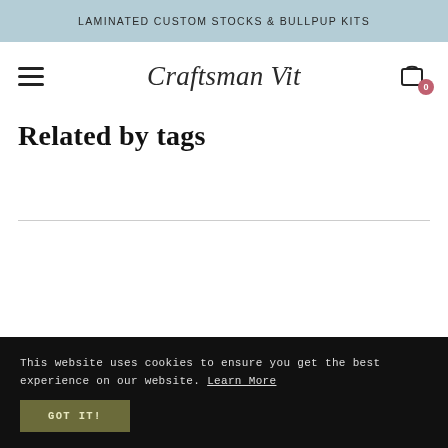LAMINATED CUSTOM STOCKS & BULLPUP KITS
[Figure (logo): Craftsman Vit cursive logo in nav bar with hamburger menu and shopping cart icon with 0 badge]
Related by tags
This website uses cookies to ensure you get the best experience on our website. Learn More
GOT IT!